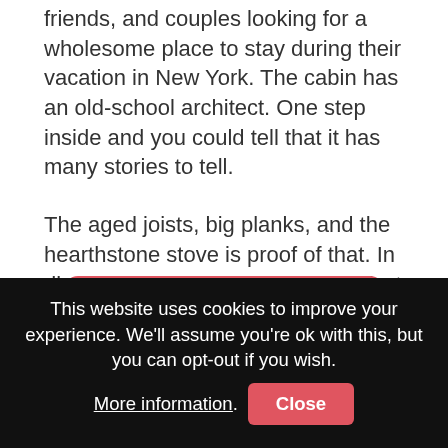friends, and couples looking for a wholesome place to stay during their vacation in New York. The cabin has an old-school architect. One step inside and you could tell that it has many stories to tell.
The aged joists, big planks, and the hearthstone stove is proof of that. In direct contrast, you'll have super-fast WiFi, Apple TV with multiple streaming services, and the cute chic décor. If you're travelling on a New England road trip, this would make for an ideal break stop.
[Figure (other): Red rounded button with Airbnb logo icon and text 'View on Airbnb']
This website uses cookies to improve your experience. We'll assume you're ok with this, but you can opt-out if you wish. More information. Close